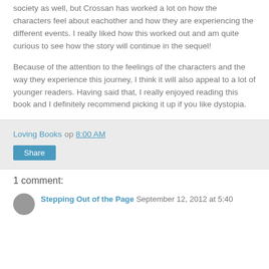society as well, but Crossan has worked a lot on how the characters feel about eachother and how they are experiencing the different events. I really liked how this worked out and am quite curious to see how the story will continue in the sequel!
Because of the attention to the feelings of the characters and the way they experience this journey, I think it will also appeal to a lot of younger readers. Having said that, I really enjoyed reading this book and I definitely recommend picking it up if you like dystopia.
Loving Books op 8:00 AM
Share
1 comment:
Stepping Out of the Page September 12, 2012 at 5:40